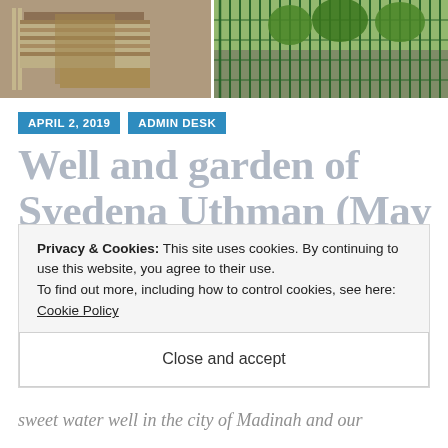[Figure (photo): Two photos side by side: left shows construction materials/brickwork near a well structure, right shows a fenced area with trees and vegetation in background]
APRIL 2, 2019
ADMIN DESK
Well and garden of Syedena Uthman (May Allah be
Privacy & Cookies: This site uses cookies. By continuing to use this website, you agree to their use.
To find out more, including how to control cookies, see here: Cookie Policy
Close and accept
sweet water well in the city of Madinah and our